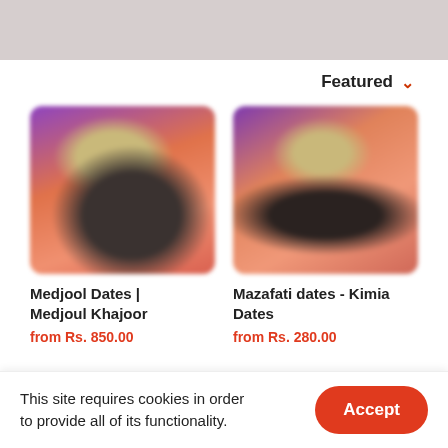Featured
[Figure (photo): Blurred product image of Medjool Dates with warm orange-pink gradient background and dark date shape in center]
Medjool Dates | Medjoul Khajoor
from Rs. 850.00
[Figure (photo): Blurred product image of Mazafati dates - Kimia Dates with warm orange-pink gradient background and dark date shape in center]
Mazafati dates - Kimia Dates
from Rs. 280.00
This site requires cookies in order to provide all of its functionality.